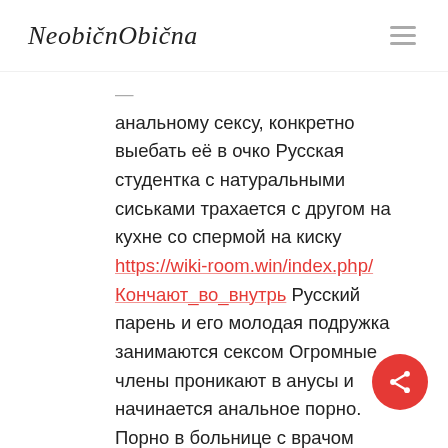NeobičnObična
анальному сексу, конкретно выебать её в очко Русская студентка с натуральными сиськами трахается с другом на кухне со спермой на киску https://wiki-room.win/index.php/Кончают_во_внутрь Русский парень и его молодая подружка занимаются сексом Огромные члены проникают в анусы и начинается анальное порно. Порно в больнице с врачом начинается с мастурбации бабы в толчке Юная озорница Аня отдалась